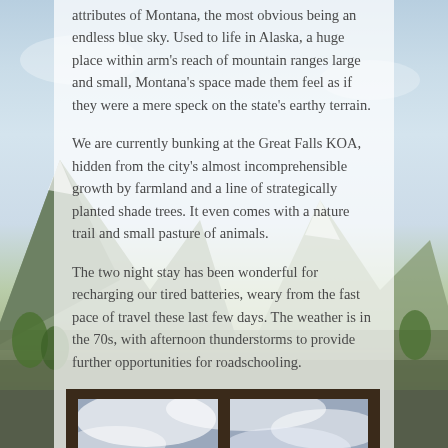attributes of Montana, the most obvious being an endless blue sky. Used to life in Alaska, a huge place within arm's reach of mountain ranges large and small, Montana's space made them feel as if they were a mere speck on the state's earthy terrain.
We are currently bunking at the Great Falls KOA, hidden from the city's almost incomprehensible growth by farmland and a line of strategically planted shade trees. It even comes with a nature trail and small pasture of animals.
The two night stay has been wonderful for recharging our tired batteries, weary from the fast pace of travel these last few days. The weather is in the 70s, with afternoon thunderstorms to provide further opportunities for roadschooling.
[Figure (photo): A photo taken through a window with dark brown frames showing a cloudy sky, with what appears to be an animal partially visible on the right side.]